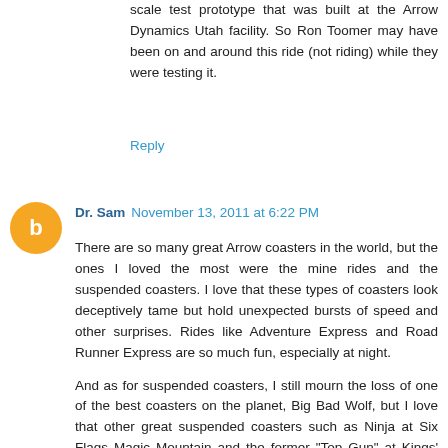scale test prototype that was built at the Arrow Dynamics Utah facility. So Ron Toomer may have been on and around this ride (not riding) while they were testing it.
Reply
Dr. Sam November 13, 2011 at 6:22 PM
There are so many great Arrow coasters in the world, but the ones I loved the most were the mine rides and the suspended coasters. I love that these types of coasters look deceptively tame but hold unexpected bursts of speed and other surprises. Rides like Adventure Express and Road Runner Express are so much fun, especially at night.
And as for suspended coasters, I still mourn the loss of one of the best coasters on the planet, Big Bad Wolf, but I love that other great suspended coasters such as Ninja at Six Flags Magic Mountain and the former "Top Gun" at Kings' Island are still around to thrill. One coaster that I particularly loved was XLR8 at the now defunct Six Flags Astroworld which provided a unique sensation when the park ran it backwards during the Halloween...